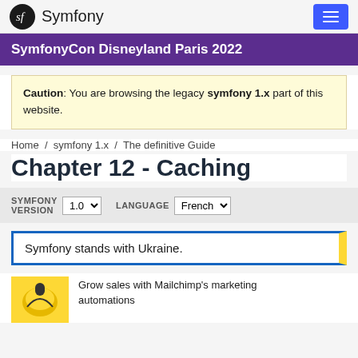Symfony
SymfonyCon Disneyland Paris 2022
Caution: You are browsing the legacy symfony 1.x part of this website.
Home / symfony 1.x / The definitive Guide
Chapter 12 - Caching
SYMFONY VERSION 1.0  LANGUAGE French
Symfony stands with Ukraine.
Grow sales with Mailchimp's marketing automations